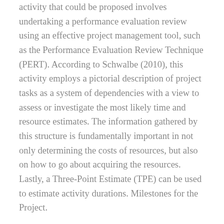activity that could be proposed involves undertaking a performance evaluation review using an effective project management tool, such as the Performance Evaluation Review Technique (PERT). According to Schwalbe (2010), this activity employs a pictorial description of project tasks as a system of dependencies with a view to assess or investigate the most likely time and resource estimates. The information gathered by this structure is fundamentally important in not only determining the costs of resources, but also on how to go about acquiring the resources. Lastly, a Three-Point Estimate (TPE) can be used to estimate activity durations. Milestones for the Project.
https://3acs.com.br/extended-essay-in-biology-checklist-extended-essay-writing-service/ Reasons to use paper rater. 100% free; it's simple – just copy and paste your essay below; view detailed stats